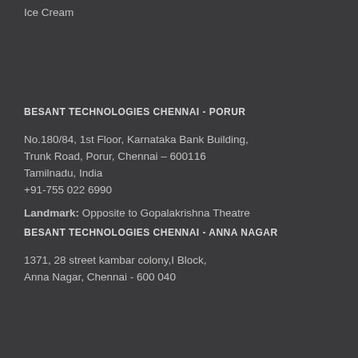Ice Cream
BESANT TECHNOLOGIES CHENNAI - PORUR
No.180/84, 1st Floor, Karnataka Bank Building, Trunk Road, Porur, Chennai – 600116 Tamilnadu, India +91-755 022 6990
Landmark: Opposite to Gopalakrishna Theatre
BESANT TECHNOLOGIES CHENNAI - ANNA NAGAR
1371, 28 street kambar colony,I Block, Anna Nagar, Chennai - 600 040